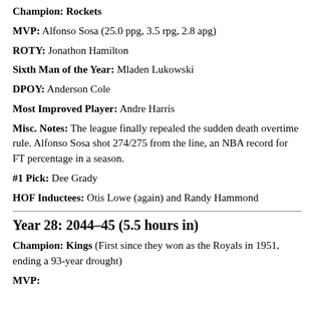Champion: Rockets
MVP: Alfonso Sosa (25.0 ppg, 3.5 rpg, 2.8 apg)
ROTY: Jonathon Hamilton
Sixth Man of the Year: Mladen Lukowski
DPOY: Anderson Cole
Most Improved Player: Andre Harris
Misc. Notes: The league finally repealed the sudden death overtime rule. Alfonso Sosa shot 274/275 from the line, an NBA record for FT percentage in a season.
#1 Pick: Dee Grady
HOF Inductees: Otis Lowe (again) and Randy Hammond
Year 28: 2044–45 (5.5 hours in)
Champion: Kings (First since they won as the Royals in 1951, ending a 93-year drought)
MVP: ...